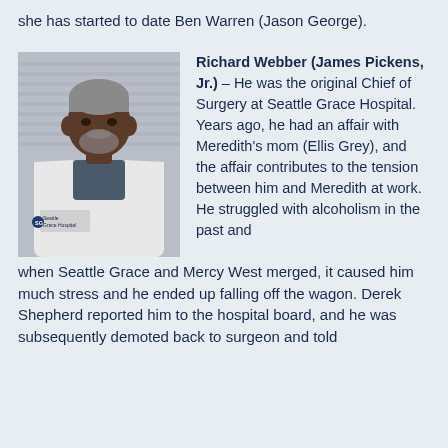she has started to date Ben Warren (Jason George).
[Figure (photo): Photo of Richard Webber character, a man in a white doctor's coat, appearing to be in a hospital setting.]
Richard Webber (James Pickens, Jr.) – He was the original Chief of Surgery at Seattle Grace Hospital. Years ago, he had an affair with Meredith's mom (Ellis Grey), and the affair contributes to the tension between him and Meredith at work. He struggled with alcoholism in the past and when Seattle Grace and Mercy West merged, it caused him much stress and he ended up falling off the wagon. Derek Shepherd reported him to the hospital board, and he was subsequently demoted back to surgeon and told